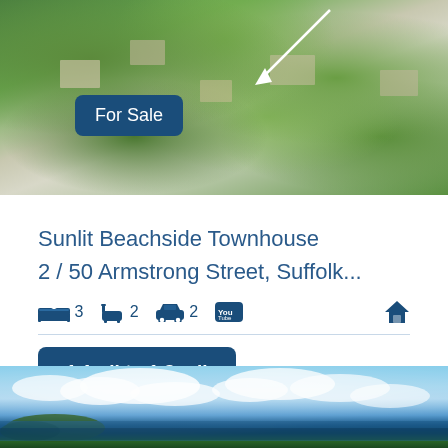[Figure (photo): Aerial view of a residential neighbourhood surrounded by lush green trees, showing rooftops and streets from above]
For Sale
Sunlit Beachside Townhouse
2 / 50 Armstrong Street, Suffolk...
Bed: 3, Bath: 2, Car: 2, YouTube video, House type
1.1mil to 1.3 mil
[Figure (photo): Coastal panoramic view showing a beach, ocean, headland, and dramatic cloudy sky]